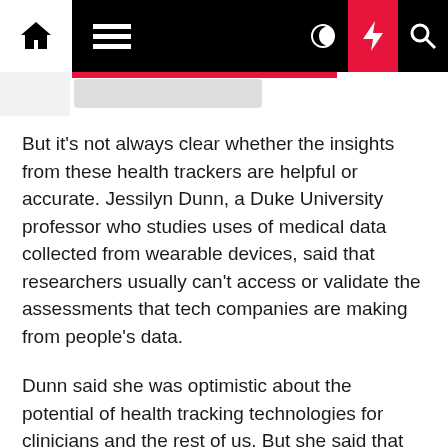Navigation bar with home, menu, moon, bolt, and search icons
But it's not always clear whether the insights from these health trackers are helpful or accurate. Jessilyn Dunn, a Duke University professor who studies uses of medical data collected from wearable devices, said that researchers usually can't access or validate the assessments that tech companies are making from people's data.
Dunn said she was optimistic about the potential of health tracking technologies for clinicians and the rest of us. But she said that the lack of transparency made it difficult to know why a health tracking technology might suggest that someone needed another hour of sleep or could be at risk of a dangerous heart abnormality.
So, if you're considering buying a health tracking